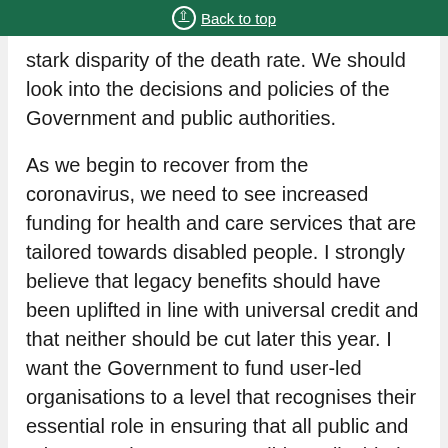Back to top
stark disparity of the death rate. We should look into the decisions and policies of the Government and public authorities.
As we begin to recover from the coronavirus, we need to see increased funding for health and care services that are tailored towards disabled people. I strongly believe that legacy benefits should have been uplifted in line with universal credit and that neither should be cut later this year. I want the Government to fund user-led organisations to a level that recognises their essential role in ensuring that all public and private services are accessible to disabled people. A national strategy for disabled people is needed now more than ever, and must contain a long-term plan for employment and